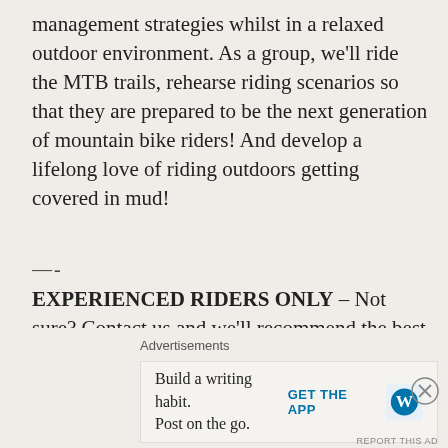management strategies whilst in a relaxed outdoor environment. As a group, we'll ride the MTB trails, rehearse riding scenarios so that they are prepared to be the next generation of mountain bike riders! And develop a lifelong love of riding outdoors getting covered in mud!
—-
EXPERIENCED RIDERS ONLY – Not sure? Contact us and we'll recommend the best session for your child.
—-
SCHOOL HOLIDAY SESSIONS:
SUMMER SESSIONS
Advertisements
Build a writing habit. Post on the go.
GET THE APP